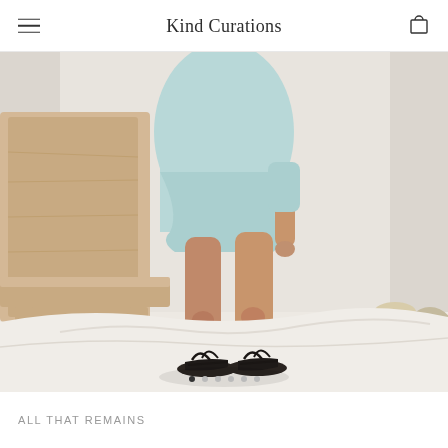Kind Curations
[Figure (photo): Fashion photo showing the lower body of a person wearing a light blue/mint dress and black strappy sandals. They are standing on white draped fabric, with a light wood chair to the left and stacked stones to the right, against a white backdrop.]
ALL THAT REMAINS